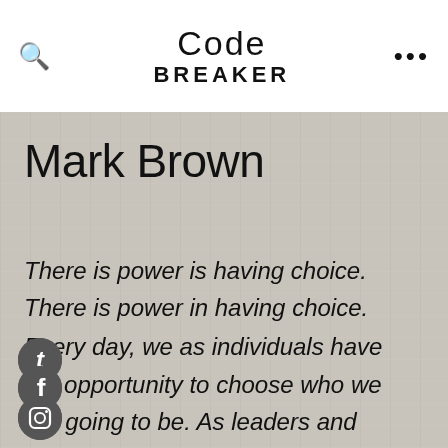Code Breaker
Mark Brown
There is power is having choice. There is power in having choice. Every day, we as individuals have the opportunity to choose who we are going to be. As leaders and educators, our primary purpose is to inspire, encourage, and empower